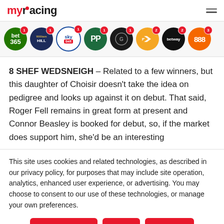myracing
[Figure (logo): Row of bookmaker logos with notification badges: bet365 (badge 1), William Hill (badge 1), Sky Bet (badge 1), Paddy Power (badge 1), Grosvenor (badge 1), Betfair (badge 2), Betway (badge 2), 888 (badge 3)]
8 SHEF WEDSNEIGH – Related to a few winners, but this daughter of Choisir doesn't take the idea on pedigree and looks up against it on debut. That said, Roger Fell remains in great form at present and Connor Beasley is booked for debut, so, if the market does support him, she'd be an interesting
This site uses cookies and related technologies, as described in our privacy policy, for purposes that may include site operation, analytics, enhanced user experience, or advertising. You may choose to consent to our use of these technologies, or manage your own preferences.
Manage Settings | Accept | Decline All